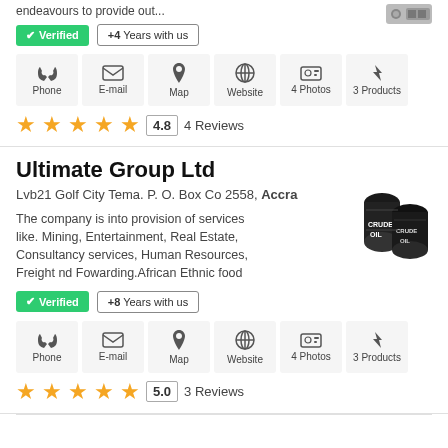endeavours to provide our...
✔ Verified  +4 Years with us
Phone  E-mail  Map  Website  4 Photos  3 Products
4.8  4 Reviews
Ultimate Group Ltd
Lvb21 Golf City Tema. P. O. Box Co 2558, Accra
The company is into provision of services like. Mining, Entertainment, Real Estate, Consultancy services, Human Resources, Freight nd Fowarding.African Ethnic food
✔ Verified  +8 Years with us
Phone  E-mail  Map  Website  4 Photos  3 Products
5.0  3 Reviews